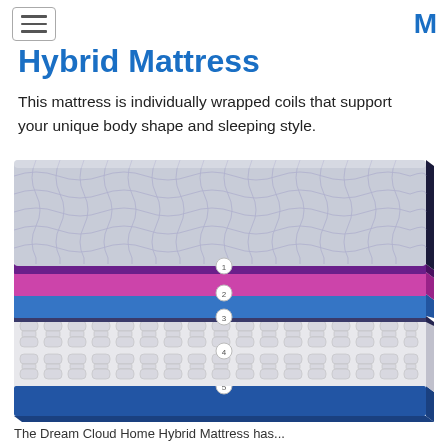[hamburger menu icon] [M logo]
Hybrid Mattress
This mattress is individually wrapped coils that support your unique body shape and sleeping style.
[Figure (illustration): Cross-section diagram of a hybrid mattress showing 5 labeled layers: 1) quilted pillow-top cover, 2) dark purple/plum memory foam layer, 3) pink/magenta comfort foam layer, 4) blue transition foam layer, 5) individually wrapped coil spring layer, 6) blue base foundation layer. Each layer is numbered with small circular badges.]
The Dream Cloud Home Hybrid Mattress has...